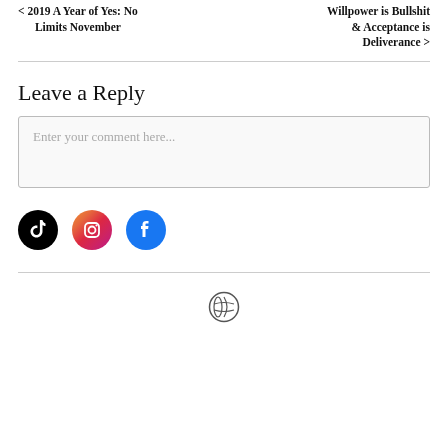< 2019 A Year of Yes: No Limits November
Willpower is Bullshit & Acceptance is Deliverance >
Leave a Reply
Enter your comment here...
[Figure (logo): TikTok, Instagram, and Facebook social media icons]
[Figure (logo): WordPress logo icon in footer]